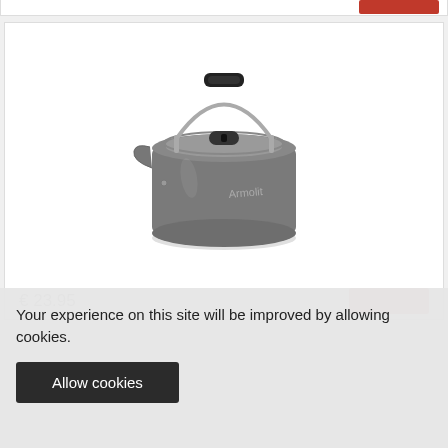[Figure (photo): Photo of a Trakker branded aluminum camping kettle with folding handle, cylindrical body in dark grey/silver color]
Trakker
€ 23.95
Your experience on this site will be improved by allowing cookies.
Allow cookies